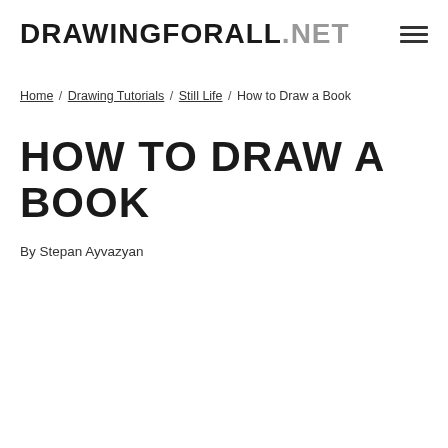DRAWINGFORALL.NET
Home / Drawing Tutorials / Still Life / How to Draw a Book
HOW TO DRAW A BOOK
By Stepan Ayvazyan